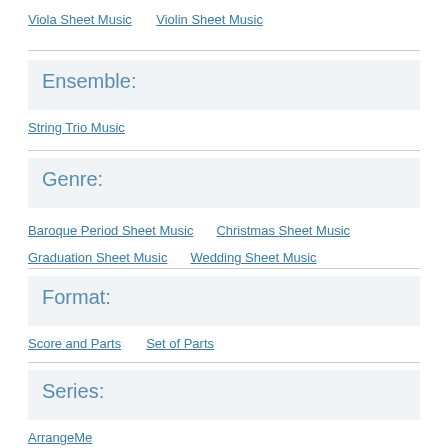Viola Sheet Music    Violin Sheet Music
Ensemble:
String Trio Music
Genre:
Baroque Period Sheet Music    Christmas Sheet Music    Graduation Sheet Music    Wedding Sheet Music
Format:
Score and Parts    Set of Parts
Series:
ArrangeMe